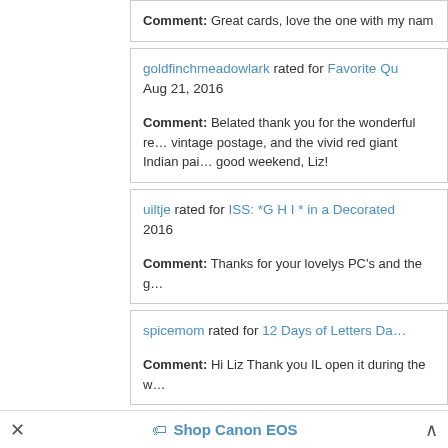Comment: Great cards, love the one with my nam
goldfinchmeadowlark rated for Favorite Qu… Aug 21, 2016
Comment: Belated thank you for the wonderful re… vintage postage, and the vivid red giant Indian pai… good weekend, Liz!
uiltje rated for ISS: *G H I * in a Decorated… 2016
Comment: Thanks for your lovelys PC's and the g…
spicemom rated for 12 Days of Letters Da…
Comment: Hi Liz Thank you IL open it during the w…
Shop Canon EOS